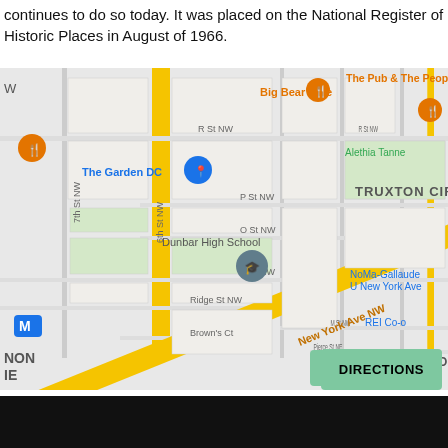continues to do so today. It was placed on the National Register of Historic Places in August of 1966.
[Figure (map): Google Maps screenshot showing Truxton Circle neighborhood in Washington DC, with streets including 6th St NW, 7th St NW, R St NW, P St NW, O St NW, N St NW, Ridge St NW, M St NW, New York Ave NW, North Capitol St. Landmarks shown include Big Bear Cafe, The Pub & The People, The Garden DC, Dunbar High School, Alethia Tanner park, NoMa-Gallaudet U New York Ave metro, REI Co-op, Sursum Corda neighborhood. Metro (M) symbol visible on lower left.]
DIRECTIONS